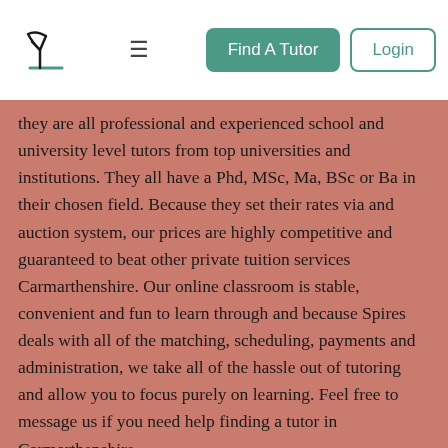[Figure (logo): Spires tutor platform logo — lamp/desk icon in teal, with a horizontal line beneath]
≡   Find A Tutor   Login
they are all professional and experienced school and university level tutors from top universities and institutions. They all have a Phd, MSc, Ma, BSc or Ba in their chosen field. Because they set their rates via and auction system, our prices are highly competitive and guaranteed to beat other private tuition services Carmarthenshire. Our online classroom is stable, convenient and fun to learn through and because Spires deals with all of the matching, scheduling, payments and administration, we take all of the hassle out of tutoring and allow you to focus purely on learning. Feel free to message us if you need help finding a tutor in Carmarthenshire.
Private Tutors in Carmarthenshire
Tutor Online Help in Carmarthenshire